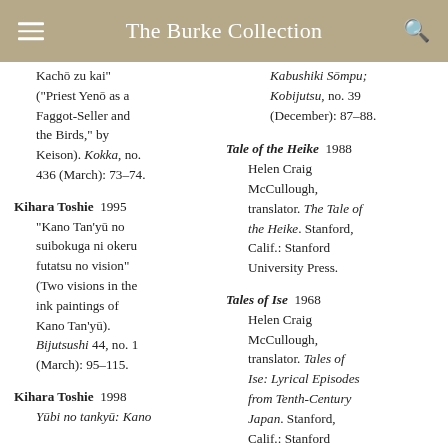The Burke Collection
Kachō zu kai" ("Priest Yenō as a Faggot-Seller and the Birds," by Keison). Kokka, no. 436 (March): 73–74.
Kihara Toshie  1995
"Kano Tan'yū no suibokuga ni okeru futatsu no vision" (Two visions in the ink paintings of Kano Tan'yū). Bijutsushi 44, no. 1 (March): 95–115.
Kihara Toshie  1998
Yūbi no tankyū: Kano
Kabushiki Sōmpu; Kobijutsu, no. 39 (December): 87–88.
Tale of the Heike  1988
Helen Craig McCullough, translator. The Tale of the Heike. Stanford, Calif.: Stanford University Press.
Tales of Ise  1968
Helen Craig McCullough, translator. Tales of Ise: Lyrical Episodes from Tenth-Century Japan. Stanford, Calif.: Stanford